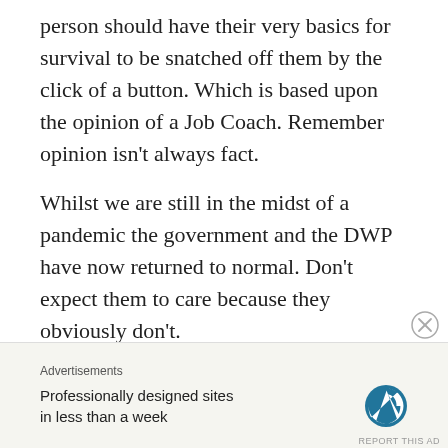person should have their very basics for survival to be snatched off them by the click of a button. Which is based upon the opinion of a Job Coach. Remember opinion isn’t always fact.
Whilst we are still in the midst of a pandemic the government and the DWP have now returned to normal. Don’t expect them to care because they obviously don’t.
Keep a good written and digital record (if you can) of everything that you’ve done to fulfill your claimant commitment.
[Figure (other): Close button (circled X) and advertisement banner with WordPress logo. Ad text: 'Professionally designed sites in less than a week']